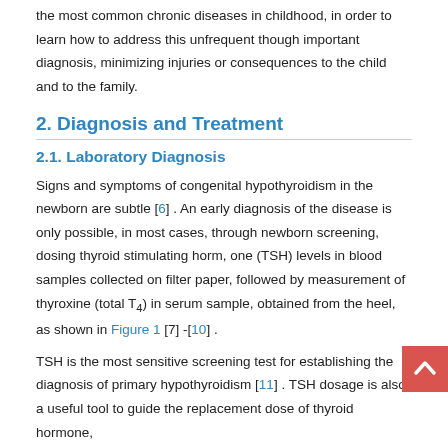the most common chronic diseases in childhood, in order to learn how to address this unfrequent though important diagnosis, minimizing injuries or consequences to the child and to the family.
2. Diagnosis and Treatment
2.1. Laboratory Diagnosis
Signs and symptoms of congenital hypothyroidism in the newborn are subtle [6] . An early diagnosis of the disease is only possible, in most cases, through newborn screening, dosing thyroid stimulating horm, one (TSH) levels in blood samples collected on filter paper, followed by measurement of thyroxine (total T4) in serum sample, obtained from the heel, as shown in Figure 1 [7] -[10] .
TSH is the most sensitive screening test for establishing the diagnosis of primary hypothyroidism [11] . TSH dosage is also a useful tool to guide the replacement dose of thyroid hormone,